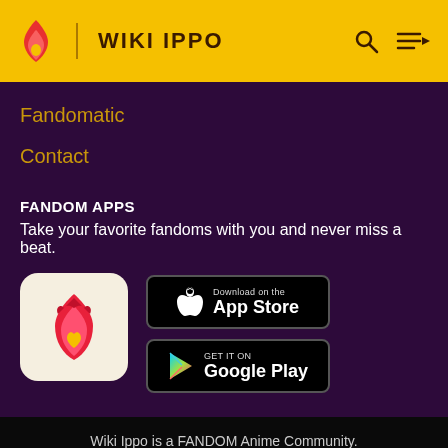WIKI IPPO
Fandomatic
Contact
FANDOM APPS
Take your favorite fandoms with you and never miss a beat.
[Figure (logo): Fandom app icon: red flame with yellow heart on cream background]
[Figure (screenshot): Download on the App Store button (black, Apple logo)]
[Figure (screenshot): GET IT ON Google Play button (black, Google Play logo)]
Wiki Ippo is a FANDOM Anime Community.
VIEW FULL SITE